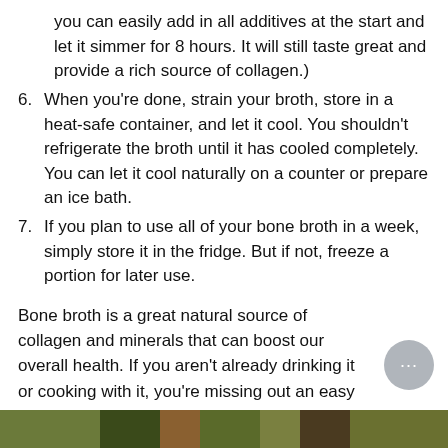you can easily add in all additives at the start and let it simmer for 8 hours. It will still taste great and provide a rich source of collagen.)
6. When you’re done, strain your broth, store in a heat-safe container, and let it cool. You shouldn’t refrigerate the broth until it has cooled completely. You can let it cool naturally on a counter or prepare an ice bath.
7. If you plan to use all of your bone broth in a week, simply store it in the fridge. But if not, freeze a portion for later use.
Bone broth is a great natural source of collagen and minerals that can boost our overall health. If you aren’t already drinking it or cooking with it, you’re missing out an easy nutrition solution.
[Figure (photo): Partial strip of a food/bone broth related photo at the bottom of the page]